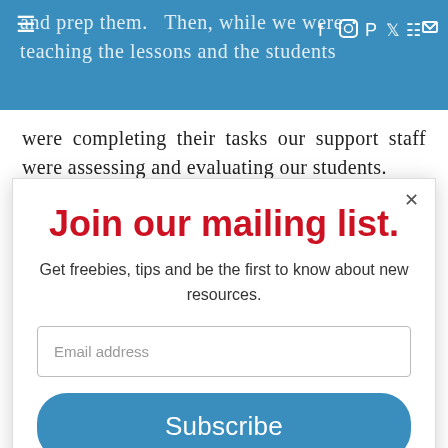and prep them.  Then, while we were teaching the lessons and the students
were completing their tasks our support staff were assessing and evaluating our students.
Join our mailing list.
Get freebies, tips and be the first to know about new resources.
Email address
Subscribe